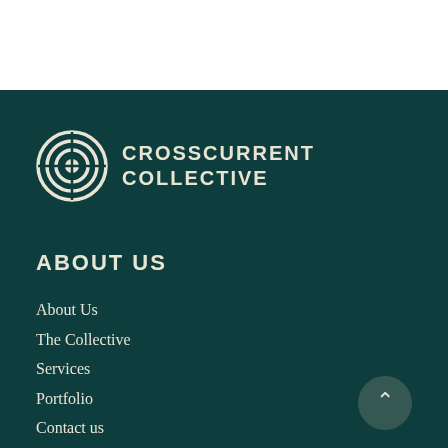[Figure (logo): Crosscurrent Collective logo with concentric circle target icon and text CROSSCURRENT COLLECTIVE]
ABOUT US
About Us
The Collective
Services
Portfolio
Contact us